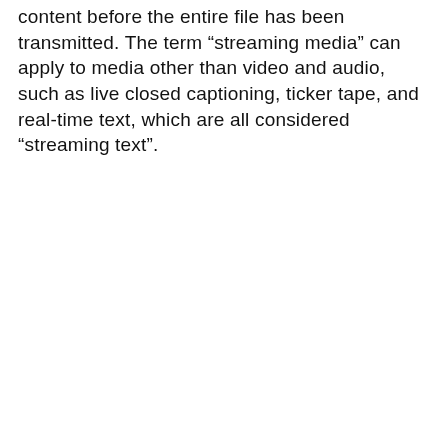content before the entire file has been transmitted. The term “streaming media” can apply to media other than video and audio, such as live closed captioning, ticker tape, and real-time text, which are all considered “streaming text”.